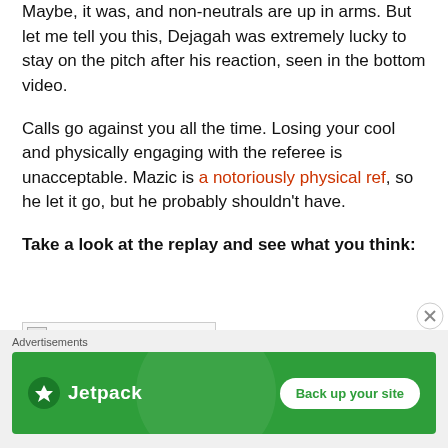Maybe, it was, and non-neutrals are up in arms. But let me tell you this, Dejagah was extremely lucky to stay on the pitch after his reaction, seen in the bottom video.
Calls go against you all the time. Losing your cool and physically engaging with the referee is unacceptable. Mazic is a notoriously physical ref, so he let it go, but he probably shouldn't have.
Take a look at the replay and see what you think:
[Figure (photo): Broken image placeholder thumbnail]
Advertisements | Jetpack — Back up your site